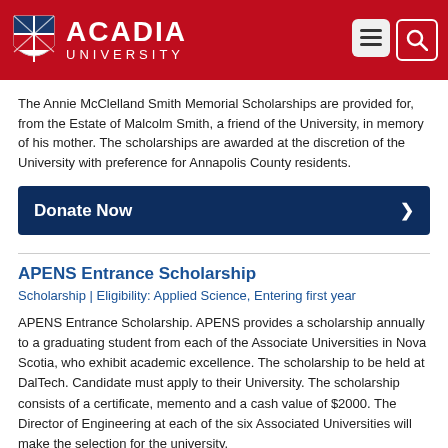[Figure (logo): Acadia University header with shield logo, wordmark 'ACADIA UNIVERSITY', navigation hamburger icon and search icon on red background]
The Annie McClelland Smith Memorial Scholarships are provided for, from the Estate of Malcolm Smith, a friend of the University, in memory of his mother. The scholarships are awarded at the discretion of the University with preference for Annapolis County residents.
Donate Now
APENS Entrance Scholarship
Scholarship | Eligibility: Applied Science, Entering first year
APENS Entrance Scholarship. APENS provides a scholarship annually to a graduating student from each of the Associate Universities in Nova Scotia, who exhibit academic excellence. The scholarship to be held at DalTech. Candidate must apply to their University. The scholarship consists of a certificate, memento and a cash value of $2000. The Director of Engineering at each of the six Associated Universities will make the selection for the university.